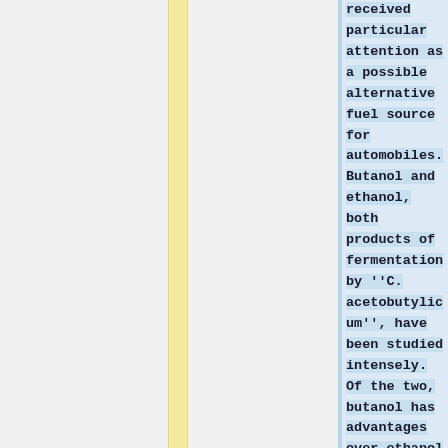received particular attention as a possible alternative fuel source for automobiles. Butanol and ethanol, both products of fermentation by ''C. acetobutylicum'', have been studied intensely. Of the two, butanol has advantages over ethanol